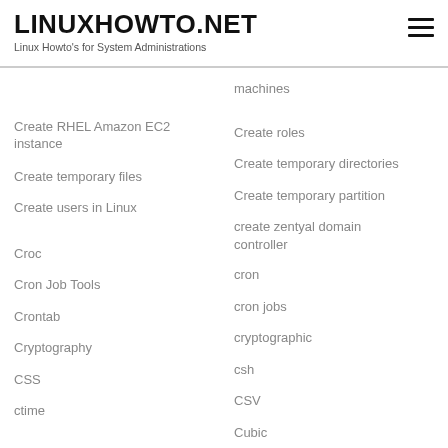LINUXHOWTO.NET – Linux Howto's for System Administrations
machines
Create RHEL Amazon EC2 instance
Create roles
Create temporary directories
Create temporary files
Create temporary partition
Create users in Linux
create zentyal domain controller
Croc
cron
Cron Job Tools
cron jobs
Crontab
cryptographic
Cryptography
csh
CSS
CSV
ctime
Cubic